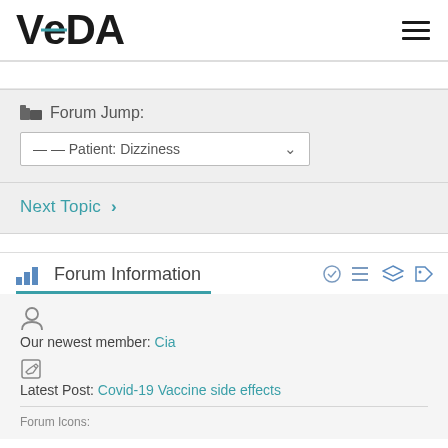VeDA
Forum Jump:
— — Patient: Dizziness
Next Topic >
Forum Information
Our newest member: Cia
Latest Post: Covid-19 Vaccine side effects
Forum Icons: